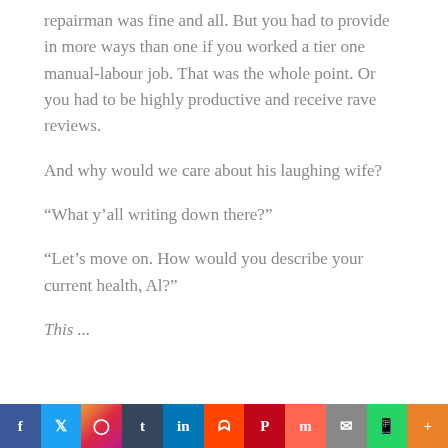repairman was fine and all. But you had to provide in more ways than one if you worked a tier one manual-labour job. That was the whole point. Or you had to be highly productive and receive rave reviews.
And why would we care about his laughing wife?
“What y’all writing down there?”
“Let’s move on. How would you describe your current health, Al?”
This ...